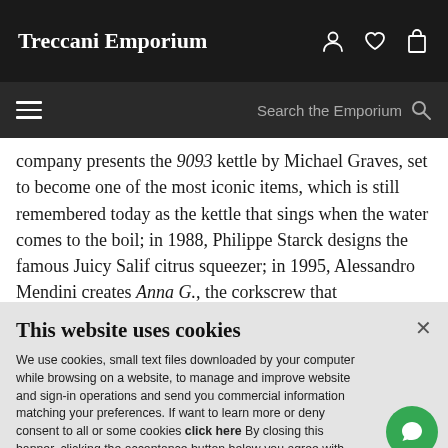Treccani Emporium
company presents the 9093 kettle by Michael Graves, set to become one of the most iconic items, which is still remembered today as the kettle that sings when the water comes to the boil; in 1988, Philippe Starck designs the famous Juicy Salif citrus squeezer; in 1995, Alessandro Mendini creates Anna G., the corkscrew that
This website uses cookies
We use cookies, small text files downloaded by your computer while browsing on a website, to manage and improve website and sign-in operations and send you commercial information matching your preferences. If want to learn more or deny consent to all or some cookies click here By closing this banner, clicking the acceptance button below you agree with and acknowledge the use of cookies.
Accept and Continue